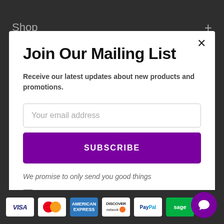Shop
Join Our Mailing List
Receive our latest updates about new products and promotions.
Your email address
SUBSCRIBE
We promise to only send you good things
Don't show again!
[Figure (infographic): Payment method logos: VISA, Mastercard, American Express, Discover, PayPal, Sage]